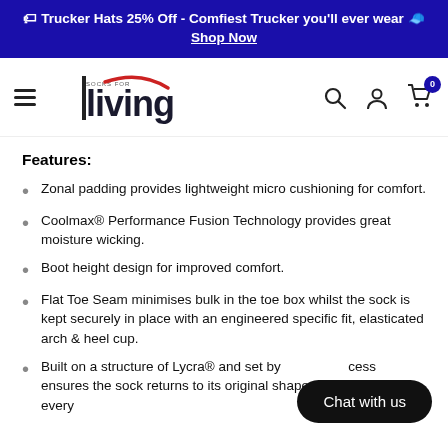🏷 Trucker Hats 25% Off - Comfiest Trucker you'll ever wear 🧢 Shop Now
[Figure (logo): Socks for Living logo with hamburger menu, search, account and cart icons in navigation bar]
Features:
Zonal padding provides lightweight micro cushioning for comfort.
Coolmax® Performance Fusion Technology provides great moisture wicking.
Boot height design for improved comfort.
Flat Toe Seam minimises bulk in the toe box whilst the sock is kept securely in place with an engineered specific fit, elasticated arch & heel cup.
Built on a structure of Lycra® and set by [obscured] cess ensures the sock returns to its original shape and size after every
Chat with us